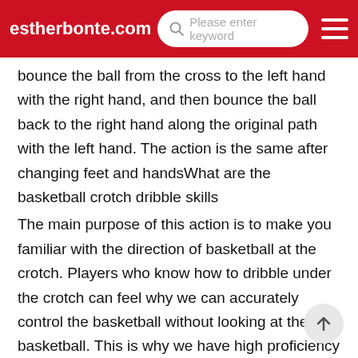estherbonte.com  Please enter keyword
bounce the ball from the cross to the left hand with the right hand, and then bounce the ball back to the right hand along the original path with the left hand. The action is the same after changing feet and handsWhat are the basketball crotch dribble skills
The main purpose of this action is to make you familiar with the direction of basketball at the crotch. Players who know how to dribble under the crotch can feel why we can accurately control the basketball without looking at the basketball. This is why we have high proficiency in dribbling under the crotch and are very familiar with the direction of basketballHow to practice basketball crotch dribble
Crotch dribble practice method: Step 1: lower the center gravity. Without looking at the ball, first practice the right hand dribble in place, and then practice the left hand dribble